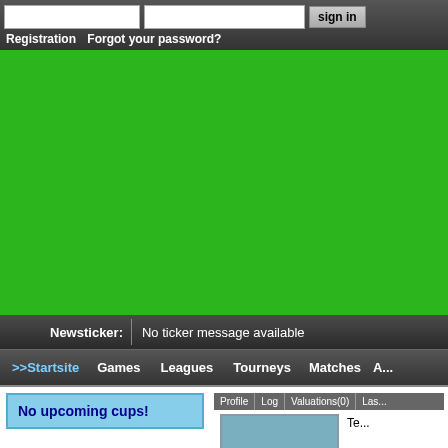Registration  Forgot your password?  sign in
[Figure (screenshot): Green banner area representing a website banner/advertisement space]
Newsticker: No ticker message available
>>Startsite   Games   Leagues   Tourneys   Matches   A...
No upcoming cups!
Profile   Log   Valuations(0)   Las...
| Date | Team1 | Team2 | Score |
| --- | --- | --- | --- |
| 2022-08-27 | Lollip ... | De Äd ... | 6:12 |
[Figure (screenshot): Blue-gray profile image placeholder box]
Te...

Co...